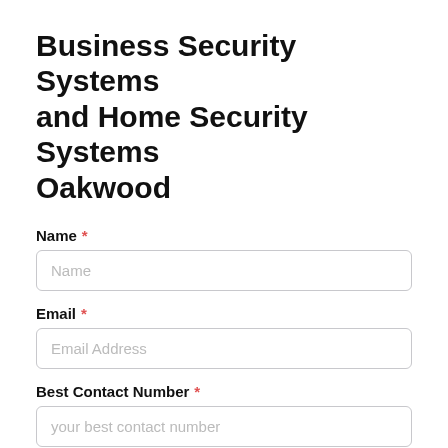Business Security Systems and Home Security Systems Oakwood
Name *
Name (placeholder)
Email *
Email Address (placeholder)
Best Contact Number *
your best contact number (placeholder)
Your Postcode *